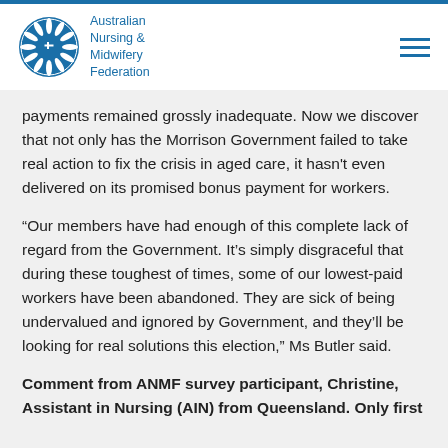[Figure (logo): Australian Nursing & Midwifery Federation logo with circular emblem containing a stylized white flower/starburst and blue cross on blue background, with organization name in blue text beside it]
payments remained grossly inadequate. Now we discover that not only has the Morrison Government failed to take real action to fix the crisis in aged care, it hasn't even delivered on its promised bonus payment for workers.
“Our members have had enough of this complete lack of regard from the Government. It’s simply disgraceful that during these toughest of times, some of our lowest-paid workers have been abandoned. They are sick of being undervalued and ignored by Government, and they’ll be looking for real solutions this election,” Ms Butler said.
Comment from ANMF survey participant, Christine, Assistant in Nursing (AIN) from Queensland. Only first